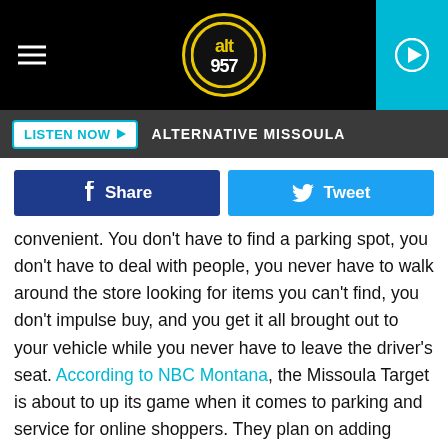[Figure (screenshot): ALT 957 radio station mobile website header with black background, hamburger menu icon on left, ALT 957 yellow circle logo in center, teal play button on right]
LISTEN NOW ▶  ALTERNATIVE MISSOULA
Share  Tweet
convenient. You don't have to find a parking spot, you don't have to deal with people, you never have to walk around the store looking for items you can't find, you don't impulse buy, and you get it all brought out to your vehicle while you never have to leave the driver's seat. According to NBC Montana, the Missoula Target is about to up its game when it comes to parking and service for online shoppers. They plan on adding more spots, new signage, and a crosswalk to help with safety for employees that deliver customers' orders.